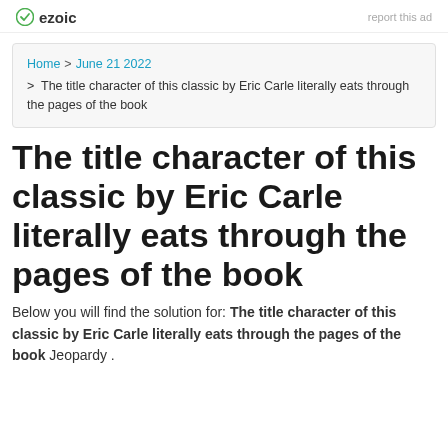ezoic   report this ad
Home > June 21 2022 > The title character of this classic by Eric Carle literally eats through the pages of the book
The title character of this classic by Eric Carle literally eats through the pages of the book
Below you will find the solution for: The title character of this classic by Eric Carle literally eats through the pages of the book Jeopardy.